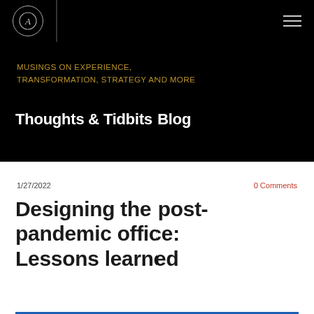[Figure (logo): Circular logo with letter A inside, white/grey on black background, with hamburger menu icon on the right]
MUSINGS ON EXPERIENCE, TRANSFORMATION, STRATEGY AND MORE
Thoughts & Tidbits Blog
1/27/2022
0 Comments
Designing the post-pandemic office: Lessons learned